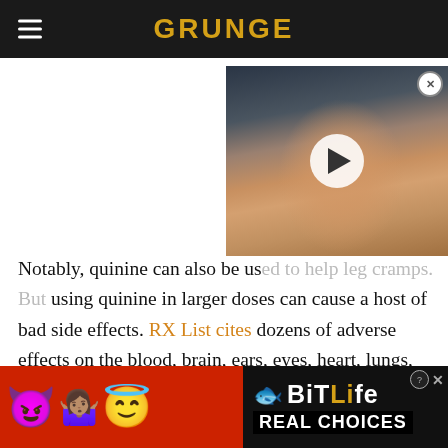GRUNGE
[Figure (photo): Video thumbnail showing a man's face with dark hair, overlay with white play button circle. Close X button in top right corner.]
Notably, quinine can also be used to help leg cramps. But using quinine in larger doses can cause a host of bad side effects. RX List cites dozens of adverse effects on the blood, brain, ears, eyes, heart, lungs, muscles, and stomach from overdose. It can even cause blindness and death – in 1988, doctors A.M. Coldenberg and L.F. Wexler
[Figure (infographic): BitLife advertisement banner with red background, emoji characters (devil, woman shrugging, angel), sperm arrow graphic, BitLife logo, and 'REAL CHOICES' text.]